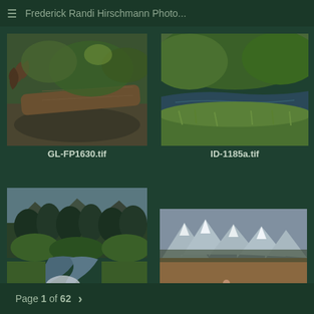≡  Frederick Randi Hirschmann Photo...
[Figure (photo): Fallen driftwood log on rocky riverbed, gnarly twisted roots, forest background]
GL-FP1630.tif
[Figure (photo): Flowing creek or stream with green grass and low shrubs on banks, natural landscape]
ID-1185a.tif
[Figure (photo): Mountain stream with rushing water, green bushes and trees, rocky alpine landscape]
ID-1185.tif
[Figure (photo): Person walking three large black dogs in snowy field with snow-capped mountains in background]
DOG-RA8535.tif
Page 1 of 62  >